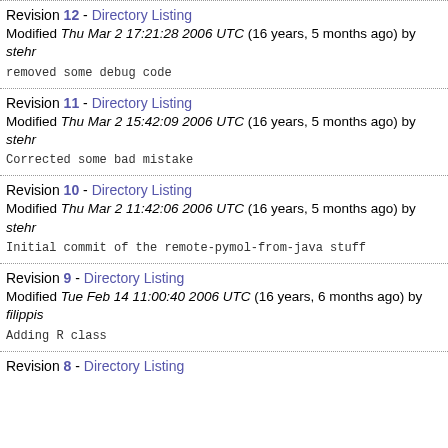Revision 12 - Directory Listing
Modified Thu Mar 2 17:21:28 2006 UTC (16 years, 5 months ago) by stehr
removed some debug code
Revision 11 - Directory Listing
Modified Thu Mar 2 15:42:09 2006 UTC (16 years, 5 months ago) by stehr
Corrected some bad mistake
Revision 10 - Directory Listing
Modified Thu Mar 2 11:42:06 2006 UTC (16 years, 5 months ago) by stehr
Initial commit of the remote-pymol-from-java stuff
Revision 9 - Directory Listing
Modified Tue Feb 14 11:00:40 2006 UTC (16 years, 6 months ago) by filippis
Adding R class
Revision 8 - Directory Listing